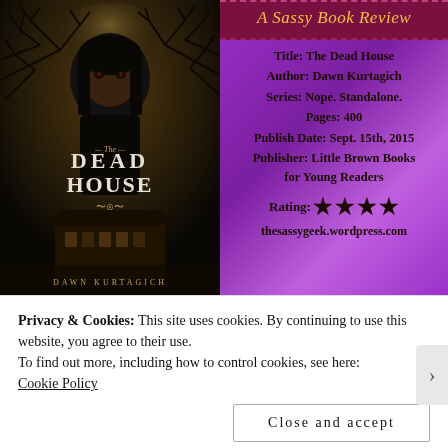[Figure (illustration): Book cover of 'The Dead House' by Dawn Kurtagich — dark gothic image of a young woman with long dark hair against a background of bare winter trees, with a haunted house at the bottom. Dark sepia and brown tones.]
[Figure (illustration): A Sassy Book Review banner in dark red/maroon with gold italic script text reading 'A Sassy Book Review', on a purple gradient background.]
Title: The Dead House
Author: Dawn Kurtagich
Series: Nope. Standalone.
Pages: 400
Publish Date: Sept. 15th, 2015
Publisher: Little Brown Books for Young Readers
Rating: ★★★★
thesassygeek.wordpress.com
Privacy & Cookies: This site uses cookies. By continuing to use this website, you agree to their use.
To find out more, including how to control cookies, see here:
Cookie Policy
Close and accept